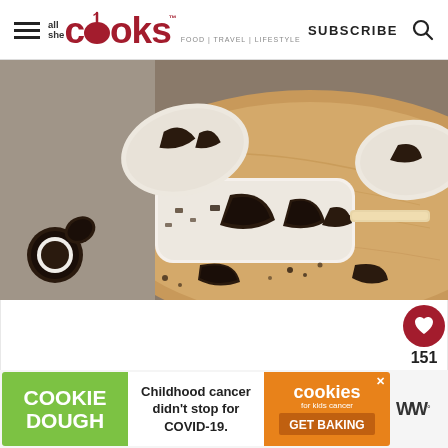all she cooks — FOOD | TRAVEL | LIFESTYLE — SUBSCRIBE
[Figure (photo): Oreo cookies and cream ice cream bars on a wooden cutting board, with broken Oreo cookies scattered around. The popsicles are white/cream colored with Oreo cookie pieces embedded in them.]
151
[Figure (infographic): Advertisement banner: COOKIE DOUGH - Childhood cancer didn't stop for COVID-19. cookies for kids cancer - GET BAKING. With a close X button.]